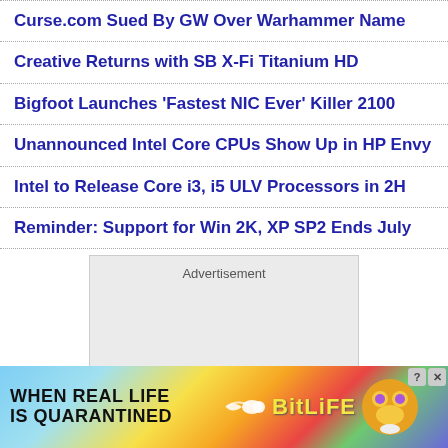Curse.com Sued By GW Over Warhammer Name
Creative Returns with SB X-Fi Titanium HD
Bigfoot Launches 'Fastest NIC Ever' Killer 2100
Unannounced Intel Core CPUs Show Up in HP Envy
Intel to Release Core i3, i5 ULV Processors in 2H
Reminder: Support for Win 2K, XP SP2 Ends July
[Figure (other): Advertisement placeholder box (gray rectangle with 'Advertisement' label)]
[Figure (other): BitLife banner advertisement with rainbow background, 'WHEN REAL LIFE IS QUARANTINED' text, sperm graphic, BitLife logo, and character icons]